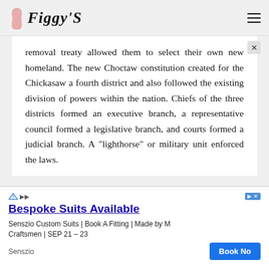Figgy'S
removal treaty allowed them to select their own new homeland. The new Choctaw constitution created for the Chickasaw a fourth district and also followed the existing division of powers within the nation. Chiefs of the three districts formed an executive branch, a representative council formed a legislative branch, and courts formed a judicial branch. A "lighthorse" or military unit enforced the laws.
In 1842 the Choctaw Nation elected a...
[Figure (other): Advertisement banner: Bespoke Suits Available — Senszio Custom Suits | Book A Fitting | Made by M Craftsmen | SEP 21 - 23. Book Now button.]